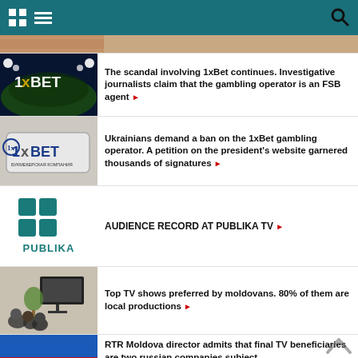Navigation header with grid icon, menu icon, and search icon
[Figure (screenshot): Top cropped image, partially visible]
[Figure (photo): 1xBet logo with stadium background, blue/dark tones]
The scandal involving 1xBet continues. Investigative journalists claim that the gambling operator is an FSB agent ▶
[Figure (photo): 1xBet Букмекерская Компания sign on building]
Ukrainians demand a ban on the 1xBet gambling operator. A petition on the president's website garnered thousands of signatures ▶
[Figure (logo): Publika TV logo with teal grid squares]
AUDIENCE RECORD AT PUBLIKA TV ▶
[Figure (photo): People watching TV in a living room]
Top TV shows preferred by moldovans. 80% of them are local productions ▶
[Figure (photo): RTR Moldova blue/red partial image]
RTR Moldova director admits that final TV beneficiaries are two russian companies subject